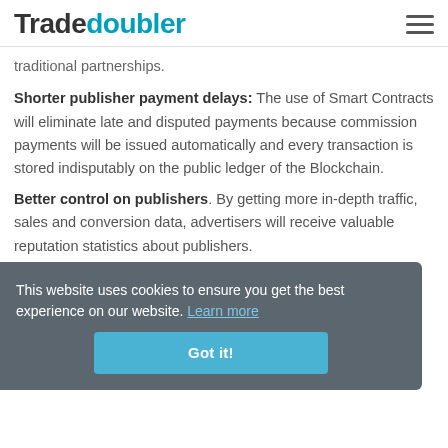Tradedoubler
traditional partnerships.
Shorter publisher payment delays: The use of Smart Contracts will eliminate late and disputed payments because commission payments will be issued automatically and every transaction is stored indisputably on the public ledger of the Blockchain.
Better control on publishers. By getting more in-depth traffic, sales and conversion data, advertisers will receive valuable reputation statistics about publishers.
[Figure (screenshot): Cookie consent banner overlay with text: 'This website uses cookies to ensure you get the best experience on our website. Learn more' and a 'Got it!' button.]
Better control on publishers...